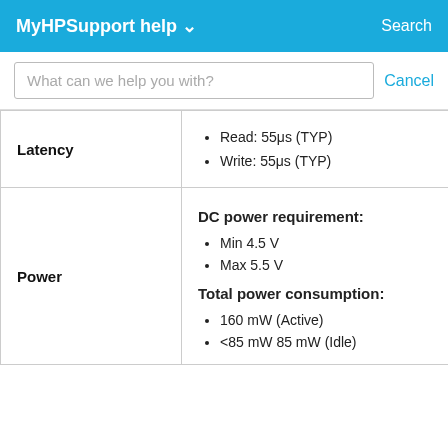MyHPSupport help   Search
What can we help you with?   Cancel
|  | Details | Nav |
| --- | --- | --- |
| Latency | Read: 55μs (TYP)
Write: 55μs (TYP) | < |
| Power | DC power requirement:
• Min 4.5 V
• Max 5.5 V
Total power consumption:
• 160 mW (Active)
• <85 mW 85 mW (Idle) |  |